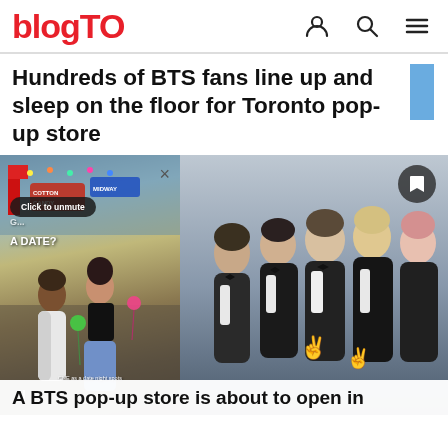blogTO
Hundreds of BTS fans line up and sleep on the floor for Toronto pop-up store
[Figure (screenshot): Two overlapping images: left panel shows a video player with a CNE scene (people at a fair, 'Click to unmute' overlay, 'A DATE?' text, pause button), right panel shows a photo of BTS group members in formal wear posing together]
A BTS pop-up store is about to open in